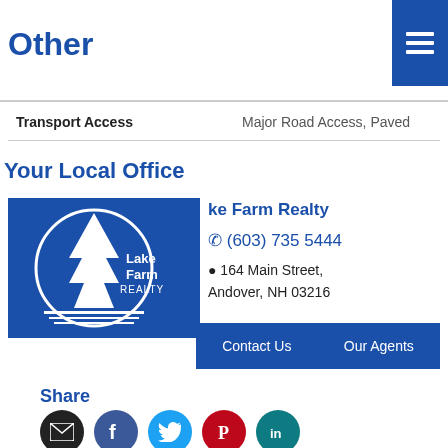Other
Other
|  |  |
| --- | --- |
| Transport Access | Major Road Access, Paved |
Your Local Office
[Figure (logo): Lake Farm Realty logo — white tree and circle on blue background]
Lake Farm Realty
(603) 735 5444
164 Main Street,
Andover, NH 03216
Contact Us   Our Agents
Share
[Figure (infographic): Social share icons: email (black), Facebook (blue), Twitter (cyan), Pinterest (red), LinkedIn (teal)]